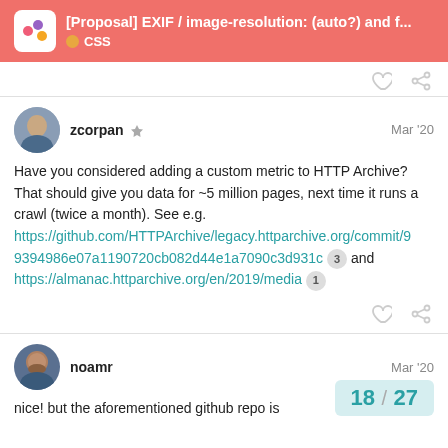[Proposal] EXIF / image-resolution: (auto?) and f... CSS
zcorpan  Mar '20
Have you considered adding a custom metric to HTTP Archive? That should give you data for ~5 million pages, next time it runs a crawl (twice a month). See e.g. https://github.com/HTTPArchive/legacy.httparchive.org/commit/99394986e07a1190720cb082d44e1a7090c3d931c 3 and https://almanac.httparchive.org/en/2019/media 1
noamr  Mar '20
nice! but the aforementioned github repo is
18 / 27